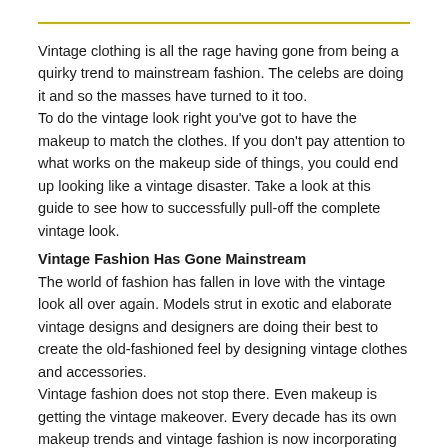Vintage clothing is all the rage having gone from being a quirky trend to mainstream fashion. The celebs are doing it and so the masses have turned to it too. To do the vintage look right you've got to have the makeup to match the clothes. If you don't pay attention to what works on the makeup side of things, you could end up looking like a vintage disaster. Take a look at this guide to see how to successfully pull-off the complete vintage look.
Vintage Fashion Has Gone Mainstream
The world of fashion has fallen in love with the vintage look all over again. Models strut in exotic and elaborate vintage designs and designers are doing their best to create the old-fashioned feel by designing vintage clothes and accessories.
Vintage fashion does not stop there. Even makeup is getting the vintage makeover. Every decade has its own makeup trends and vintage fashion is now incorporating the appropriate trend to get the perfect look.
Retro glamour is the coolest thing now and celebrities...